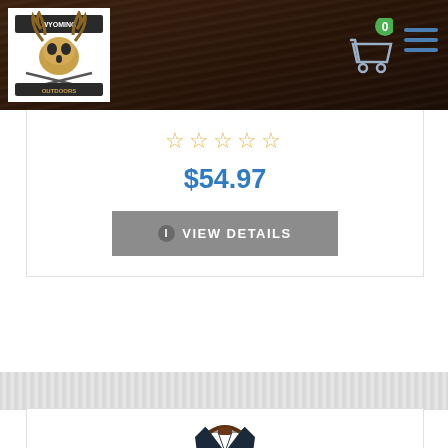[Figure (logo): Wyoming Outdoor store logo - skull with antlers on white background]
[Figure (other): Shopping cart icon with green badge showing 0 and hamburger menu icon]
☆☆☆☆☆
$54.97
VIEW DETAILS
[Figure (photo): Simms Black's Ford Flannel Shirt - dark blue/grey plaid long sleeve flannel shirt]
Simms Black's Ford Flannel Shirt Closeout Sale
The long sleeve Black's Ford Flannel Simms Shirt is made of a very lightweight polyester flannel. This flannel shirt is great for a